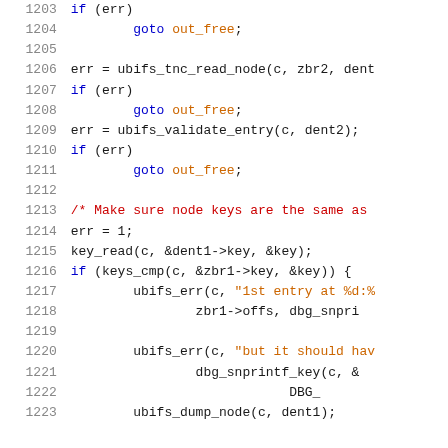[Figure (screenshot): Source code listing in C, lines 1203-1223, showing UBIFS filesystem code with syntax highlighting. Keywords in blue, strings in orange, comments in red, regular code in dark/black.]